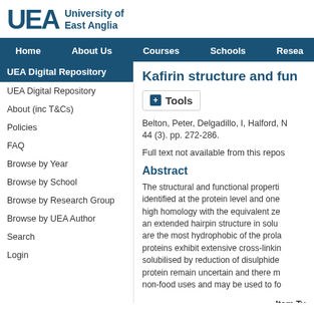University of East Anglia
Home | About Us | Courses | Schools | Resea...
UEA Digital Repository
UEA Digital Repository
About (inc T&Cs)
Policies
FAQ
Browse by Year
Browse by School
Browse by Research Group
Browse by UEA Author
Search
Login
Kafirin structure and fun...
Tools
Belton, Peter, Delgadillo, I, Halford, N... 44 (3). pp. 272-286.
Full text not available from this repos...
Abstract
The structural and functional properties identified at the protein level and one... high homology with the equivalent ze... an extended hairpin structure in solu... are the most hydrophobic of the prola... proteins exhibit extensive cross-linkin... solubilised by reduction of disulphide... protein remain uncertain and there m... non-food uses and may be used to fo...
Item Ty...
Faculty...